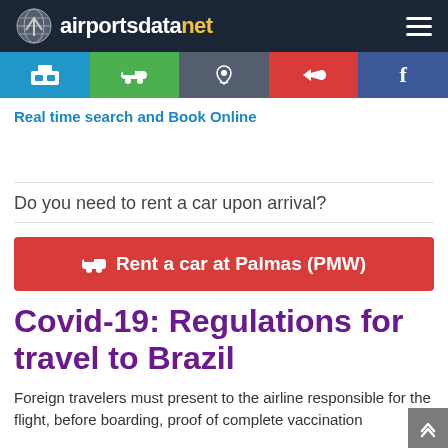airportsdatanet
Real time search and Book Online
Do you need to rent a car upon arrival?
Rent a car at Palmas (PMW)
Covid-19: Regulations for travel to Brazil
Foreign travelers must present to the airline responsible for the flight, before boarding, proof of complete vaccination